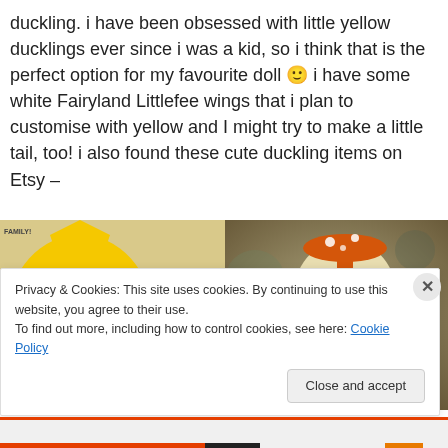duckling. i have been obsessed with little yellow ducklings ever since i was a kid, so i think that is the perfect option for my favourite doll 🙂 i have some white Fairyland Littlefee wings that i plan to customise with yellow and I might try to make a little tail, too! i also found these cute duckling items on Etsy –
[Figure (photo): Two images side by side: left shows a yellow knitted duck hat/costume on a doll with newspaper background; right shows a plush duckling figure with an orange mushroom hat.]
Privacy & Cookies: This site uses cookies. By continuing to use this website, you agree to their use.
To find out more, including how to control cookies, see here: Cookie Policy
Close and accept